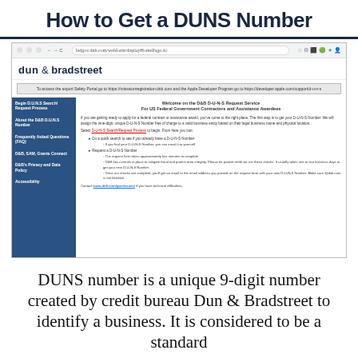How to Get a DUNS Number
[Figure (screenshot): Screenshot of the Dun & Bradstreet federal DUNS request service webpage, showing the D&B logo, browser navigation bar with URL fedgov.dnb.com/webform/displayHomePage.do, left navigation menu, and main content area with text about requesting a DUNS number for US Federal Government Contractors and Assistance Awardees.]
DUNS number is a unique 9-digit number created by credit bureau Dun & Bradstreet to identify a business. It is considered to be a standard